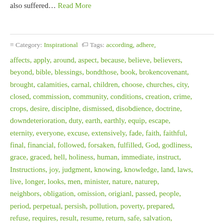also suffered… Read More
≡ Category: Inspirational 🏷 Tags: according, adhere, affects, apply, around, aspect, because, believe, believers, beyond, bible, blessings, bondthose, book, brokencovenant, brought, calamities, carnal, children, choose, churches, city, closed, commission, community, conditions, creation, crime, crops, desire, disciplne, dismissed, disobdience, doctrine, downdeterioration, duty, earth, earthly, equip, escape, eternity, everyone, excuse, extensively, fade, faith, faithful, final, financial, followed, forsaken, fulfilled, God, godliness, grace, graced, hell, holiness, human, immediate, instruct, Instructions, joy, judgment, knowing, knowledge, land, laws, live, longer, looks, men, minister, nature, naturep, neighbors, obligation, omission, origianl, passed, people, period, perpetual, persish, pollution, poverty, prepared, refuse, requires, result, resume, return, safe, salvation, scripture, section, seeking, share, sins, slow, society, spend